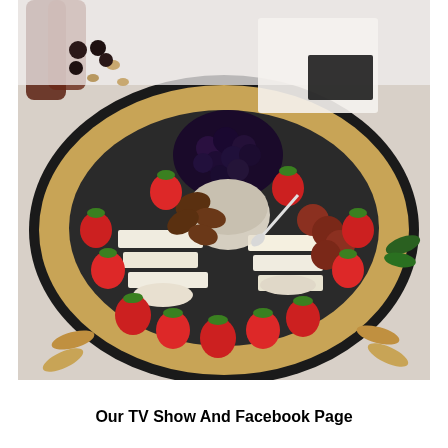[Figure (photo): A large charcuterie and cheese platter with crackers arranged around the edge, strawberries, blueberries, sliced cheese, salami, candied pecans, and a small cup of olives/artichokes in the center. Wine bottles and corks are visible in the background along with a sign/placard.]
Our TV Show And Facebook Page